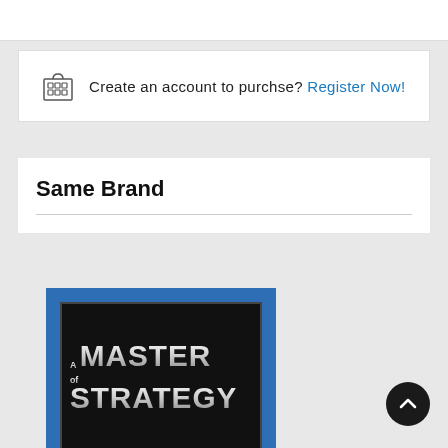Create an account to purchse? Register Now!
Same Brand
[Figure (logo): A Master of Strategy logo — white stylized text on black background with blue border frame]